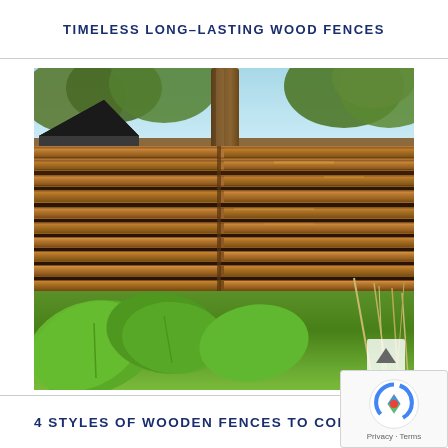TIMELESS LONG-LASTING WOOD FENCES
[Figure (photo): Photograph of a horizontal wood slat fence (cedar/redwood, stained brown) with lush green foliage (large leaves) in the foreground and trees/shed visible in the background]
4 STYLES OF WOODEN FENCES TO CONSIDER